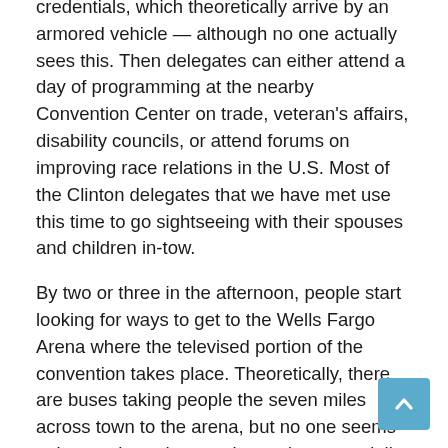credentials, which theoretically arrive by an armored vehicle — although no one actually sees this. Then delegates can either attend a day of programming at the nearby Convention Center on trade, veteran's affairs, disability councils, or attend forums on improving race relations in the U.S. Most of the Clinton delegates that we have met use this time to go sightseeing with their spouses and children in-tow.
By two or three in the afternoon, people start looking for ways to get to the Wells Fargo Arena where the televised portion of the convention takes place. Theoretically, there are buses taking people the seven miles across town to the arena, but no one seems to know where they are located — especially not the myriad of people wearing the “Ask Me” T-shirts milling about the convention center. Most days I opt for the subway — which is free if one flashes one's credentials to the booth attendant. After a mile or so walk, passing through multiple security screening areas, including one manned by the Secret